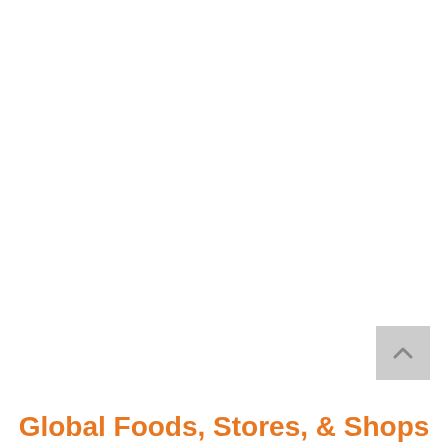[Figure (other): Scroll-to-top button UI element, grey square with upward chevron arrow]
Global Foods, Stores, & Shops